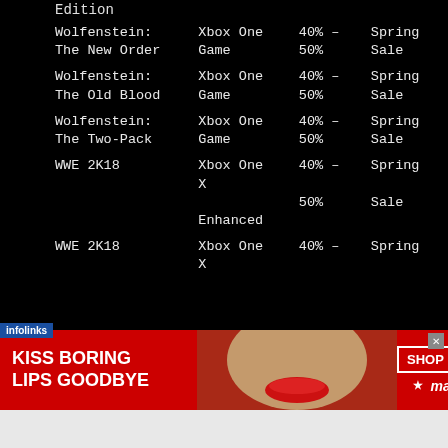| Title | Platform | Discount | Sale |
| --- | --- | --- | --- |
| Edition |  |  |  |
| Wolfenstein: The New Order | Xbox One Game | 40% – 50% | Spring Sale |
| Wolfenstein: The Old Blood | Xbox One Game | 40% – 50% | Spring Sale |
| Wolfenstein: The Two-Pack | Xbox One Game | 40% – 50% | Spring Sale |
| WWE 2K18 | Xbox One X Enhanced | 40% – 50% | Spring Sale |
| WWE 2K18 Digital Deluxe | Xbox One X | 40% – | Spring |
[Figure (infographic): Macy's advertisement banner: 'KISS BORING LIPS GOODBYE' with woman's face and red lips, SHOP NOW button and Macy's star logo. Infolinks badge visible at top-left.]